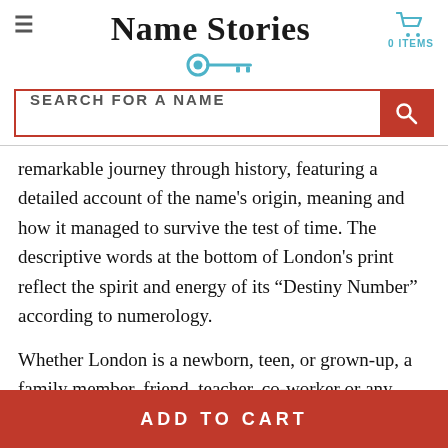Name Stories
[Figure (illustration): Teal/cyan key icon used as brand symbol below the site title]
[Figure (illustration): Search bar with orange search button and cart icon with 0 ITEMS label]
remarkable journey through history, featuring a detailed account of the name's origin, meaning and how it managed to survive the test of time. The descriptive words at the bottom of London's print reflect the spirit and energy of its “Destiny Number” according to numerology.
Whether London is a newborn, teen, or grown-up, a family member, friend, teacher, co-worker or any special someone, each story is an inspirational reminder of her core identity:
ADD TO CART